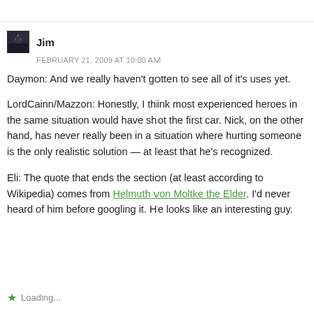Jim
FEBRUARY 21, 2009 AT 10:00 AM
Daymon: And we really haven't gotten to see all of it's uses yet.
LordCainn/Mazzon: Honestly, I think most experienced heroes in the same situation would have shot the first car. Nick, on the other hand, has never really been in a situation where hurting someone is the only realistic solution — at least that he's recognized.
Eli: The quote that ends the section (at least according to Wikipedia) comes from Helmuth von Moltke the Elder. I'd never heard of him before googling it. He looks like an interesting guy.
Loading...